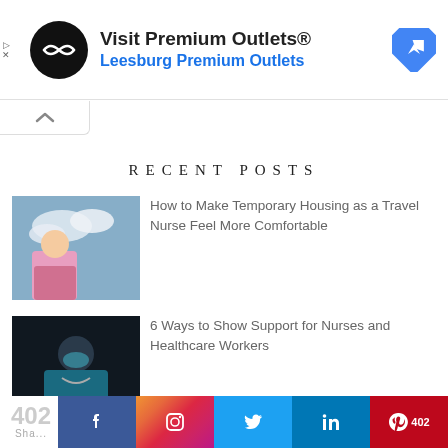[Figure (other): Advertisement banner: Visit Premium Outlets® — Leesburg Premium Outlets, with circular black logo and blue diamond navigation icon]
RECENT POSTS
[Figure (photo): Travel nurse in pink scrubs outdoors with cloudy sky background]
How to Make Temporary Housing as a Travel Nurse Feel More Comfortable
[Figure (photo): Healthcare worker in blue scrubs and face mask with stethoscope, dark background]
6 Ways to Show Support for Nurses and Healthcare Workers
[Figure (other): Social share bar with 402 count, Facebook, Instagram, Twitter, LinkedIn, Pinterest buttons]